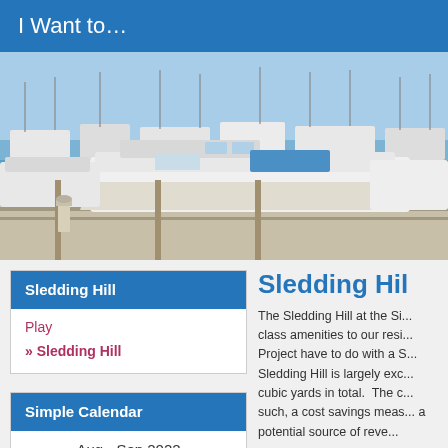I Want to…
[Figure (photo): Aerial/ground view of a marina with multiple white powerboats and sailboats docked at piers, blue sky and water in background]
Sledding Hill
Play
» Sledding Hill
Simple Calendar
Aug - Sep 2022
Sledding Hil
The Sledding Hill at the Si... class amenities to our resi... Project have to do with a S... Sledding Hill is largely exc... cubic yards in total. The c... such, a cost savings meas... a potential source of reve...